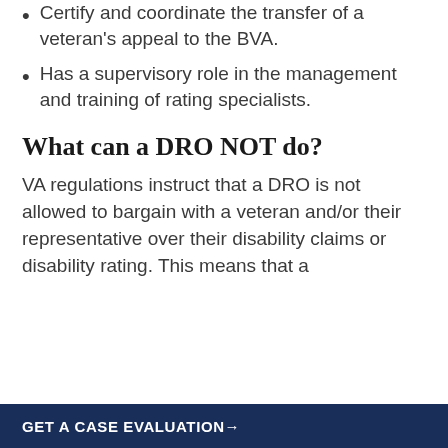Certify and coordinate the transfer of a veteran's appeal to the BVA.
Has a supervisory role in the management and training of rating specialists.
What can a DRO NOT do?
VA regulations instruct that a DRO is not allowed to bargain with a veteran and/or their representative over their disability claims or disability rating. This means that a
GET A CASE EVALUATION→